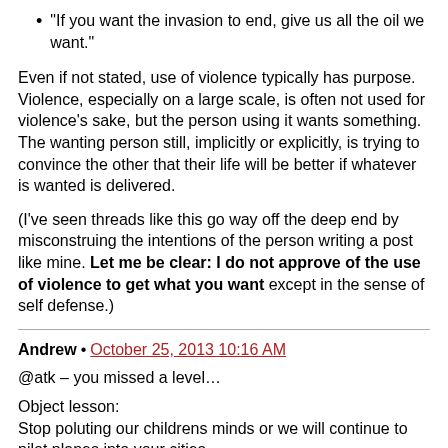“If you want the invasion to end, give us all the oil we want.”
Even if not stated, use of violence typically has purpose. Violence, especially on a large scale, is often not used for violence’s sake, but the person using it wants something. The wanting person still, implicitly or explicitly, is trying to convince the other that their life will be better if whatever is wanted is delivered.
(I’ve seen threads like this go way off the deep end by misconstruing the intentions of the person writing a post like mine. Let me be clear: I do not approve of the use of violence to get what you want except in the sense of self defense.)
Andrew • October 25, 2013 10:16 AM
@atk – you missed a level…
Object lesson:
Stop poluting our childrens minds or we will continue to pilot planes into your cities.